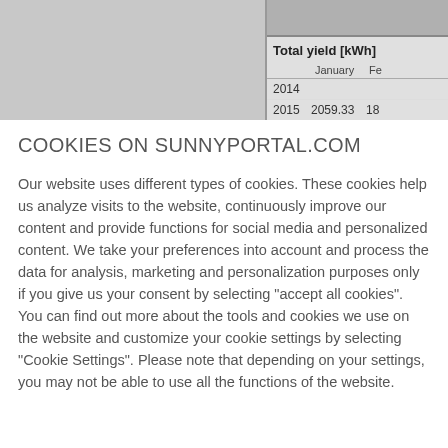[Figure (screenshot): Partial screenshot of SunnyPortal.com showing a gray panel on the left and a table on the right with 'Total yield [kWh]' data for years 2014, 2015, 2016 with January and February columns visible.]
|  | January | Fe… |
| --- | --- | --- |
| 2014 |  |  |
| 2015 | 2059.33 | 18… |
| 2016 | 1921.35 | 19… |
COOKIES ON SUNNYPORTAL.COM
Our website uses different types of cookies. These cookies help us analyze visits to the website, continuously improve our content and provide functions for social media and personalized content. We take your preferences into account and process the data for analysis, marketing and personalization purposes only if you give us your consent by selecting “accept all cookies”. You can find out more about the tools and cookies we use on the website and customize your cookie settings by selecting “Cookie Settings”. Please note that depending on your settings, you may not be able to use all the functions of the website.